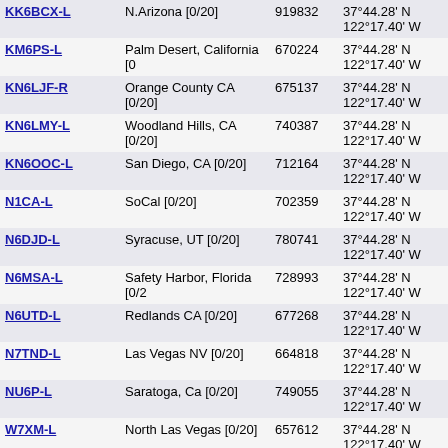| Callsign | Location | Freq | Coordinates | Grid | Last |
| --- | --- | --- | --- | --- | --- |
| KK6BCX-L | N.Arizona [0/20] | 919832 | 37°44.28' N 122°17.40' W | CM87ur | 1984.6 |
| KM6PS-L | Palm Desert, California [0 | 670224 | 37°44.28' N 122°17.40' W | CM87ur | 1984.6 |
| KN6LJF-R | Orange County CA [0/20] | 675137 | 37°44.28' N 122°17.40' W | CM87ur | 1984.6 |
| KN6LMY-L | Woodland Hills, CA [0/20] | 740387 | 37°44.28' N 122°17.40' W | CM87ur | 1984.6 |
| KN6OOC-L | San Diego, CA [0/20] | 712164 | 37°44.28' N 122°17.40' W | CM87ur | 1984.6 |
| N1CA-L | SoCal [0/20] | 702359 | 37°44.28' N 122°17.40' W | CM87ur | 1984.6 |
| N6DJD-L | Syracuse, UT [0/20] | 780741 | 37°44.28' N 122°17.40' W | CM87ur | 1984.6 |
| N6MSA-L | Safety Harbor, Florida [0/2 | 728993 | 37°44.28' N 122°17.40' W | CM87ur | 1984.6 |
| N6UTD-L | Redlands CA [0/20] | 677268 | 37°44.28' N 122°17.40' W | CM87ur | 1984.6 |
| N7TND-L | Las Vegas NV [0/20] | 664818 | 37°44.28' N 122°17.40' W | CM87ur | 1984.6 |
| NU6P-L | Saratoga, Ca [0/20] | 749055 | 37°44.28' N 122°17.40' W | CM87ur | 1984.6 |
| W7XM-L | North Las Vegas [0/20] | 657612 | 37°44.28' N 122°17.40' W | CM87ur | 1984.6 |
| WB6BJN-L | In Conference KG6AZZ-R | 665971 | 37°44.28' N 122°17.40' W | CM87ur | 1984.6 |
| XE2JEG-R | Chihuahua, Mexico | 5966 | 37°44.28' N 122°17.40' W | CM87ur | 1984.6 |